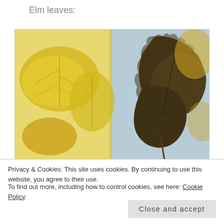Elm leaves:
[Figure (photo): Photograph of elm leaves: on the left, yellow-golden leaf prints/rubbings on white paper; on the right, actual dark brown-green elm leaves with serrated edges on a stem, placed on the same white background.]
Privacy & Cookies: This site uses cookies. By continuing to use this website, you agree to their use.
To find out more, including how to control cookies, see here: Cookie Policy
Close and accept